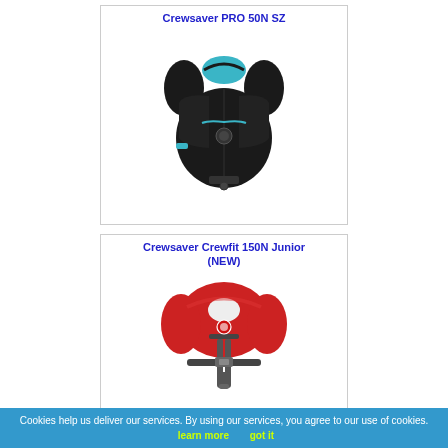[Figure (photo): Crewsaver PRO 50N SZ buoyancy aid jacket, black with blue trim, shown from front]
Crewsaver PRO 50N SZ
[Figure (photo): Crewsaver Crewfit 150N Junior inflatable lifejacket, red with black harness, shown from front]
Crewsaver Crewfit 150N Junior (NEW)
Cookies help us deliver our services. By using our services, you agree to our use of cookies. learn more   got it